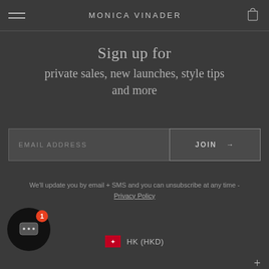MONICA VINADER
Sign up for private sales, new launches, style tips and more
EMAIL ADDRESS
JOIN →
We'll update you by email + SMS and you can unsubscribe at any time - Privacy Policy
HK (HKD)
COMPANY